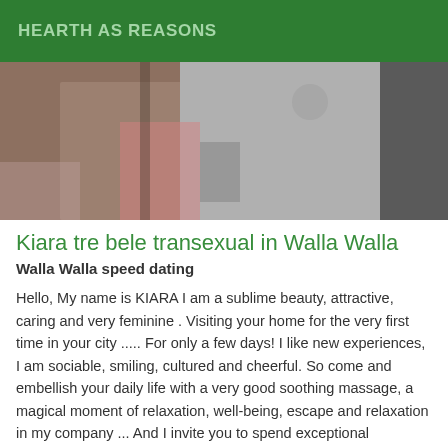HEARTH AS REASONS
[Figure (photo): A person photographed in a mirror, wearing dark clothing with pink and red accents, in an indoor setting.]
Kiara tre bele transexual in Walla Walla
Walla Walla speed dating
Hello, My name is KIARA I am a sublime beauty, attractive, caring and very feminine . Visiting your home for the very first time in your city ..... For only a few days! I like new experiences, I am sociable, smiling, cultured and cheerful. So come and embellish your daily life with a very good soothing massage, a magical moment of relaxation, well-being, escape and relaxation in my company ... And I invite you to spend exceptional moments, exchanges in the greatest discretion and